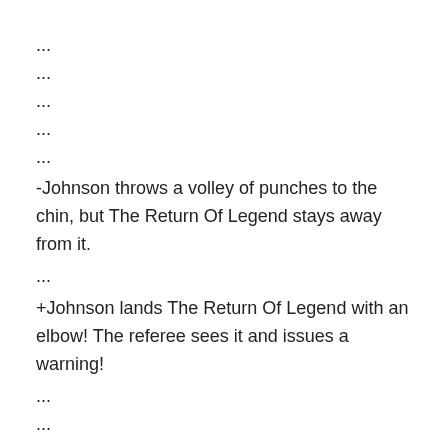...
...
...
...
...
-Johnson throws a volley of punches to the chin, but The Return Of Legend stays away from it.
...
+Johnson lands The Return Of Legend with an elbow! The referee sees it and issues a warning!
...
...
...
...
...
...
...
...
...